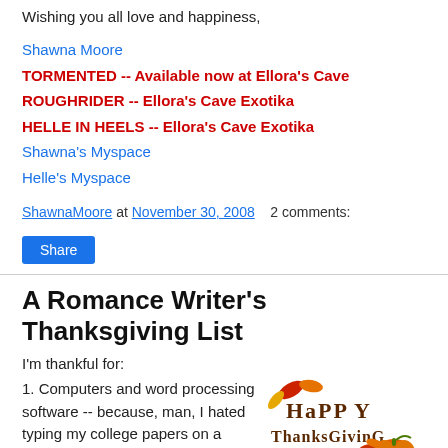Wishing you all love and happiness,
Shawna Moore
TORMENTED -- Available now at Ellora's Cave
ROUGHRIDER -- Ellora's Cave Exotika
HELLE IN HEELS -- Ellora's Cave Exotika
Shawna's Myspace
Helle's Myspace
ShawnaMoore at November 30, 2008   2 comments:
Share
A Romance Writer's Thanksgiving List
I'm thankful for:
1. Computers and word processing software -- because, man, I hated typing my college papers on a
[Figure (illustration): Happy Thanksgiving decorative graphic with autumn leaves and pumpkin]